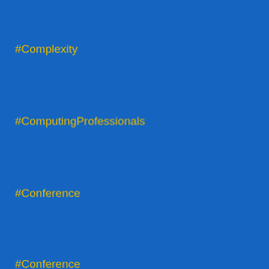#Complexity
#ComputingProfessionals
#Conference
#Conference
#Conference
#ConferencesAndEvents
#conferencespeaker
#ConferenceSpeaker
#ConferenceSpeaker